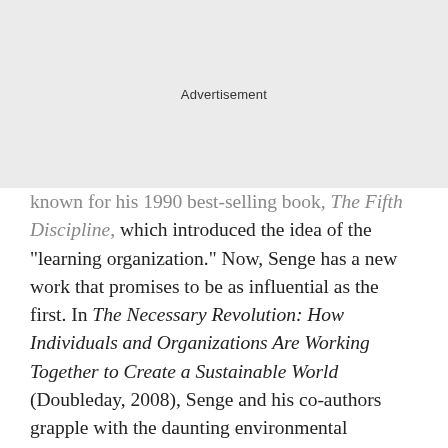[Figure (other): Advertisement placeholder box with light gray background and centered 'Advertisement' label]
known for his 1990 best-selling book, The Fifth Discipline, which introduced the idea of the "learning organization." Now, Senge has a new work that promises to be as influential as the first. In The Necessary Revolution: How Individuals and Organizations Are Working Together to Create a Sustainable World (Doubleday, 2008), Senge and his co-authors grapple with the daunting environmental problems we face, and highlight innovative steps taken by individuals and corporations, often in partnership with global organizations such as Oxfam, toward a more